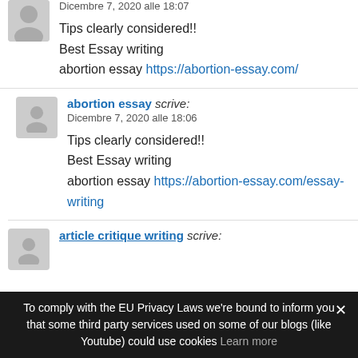Dicembre 7, 2020 alle 18:07
Tips clearly considered!!
Best Essay writing
abortion essay https://abortion-essay.com/
abortion essay scrive: Dicembre 7, 2020 alle 18:06
Tips clearly considered!!
Best Essay writing
abortion essay https://abortion-essay.com/essay-writing
article critique writing scrive:
To comply with the EU Privacy Laws we're bound to inform you that some third party services used on some of our blogs (like Youtube) could use cookies Learn more